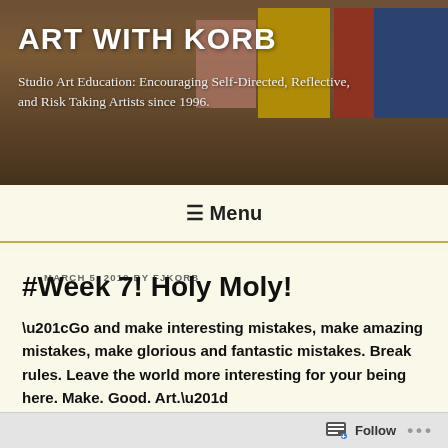[Figure (photo): Header photo of an art gallery with colorful abstract paintings on the wall and people walking around.]
ART WITH KORB
Studio Art Education: Encouraging Self-Directed, Reflective, and Risk Taking Artists since 1996.
≡ Menu
MARCH 5, 2019 BY FJKORB
#Week 7! Holy Moly!
“Go and make interesting mistakes, make amazing mistakes, make glorious and fantastic mistakes. Break rules. Leave the world more interesting for your being here. Make. Good. Art.” ~ Neil Gaiman
Follow